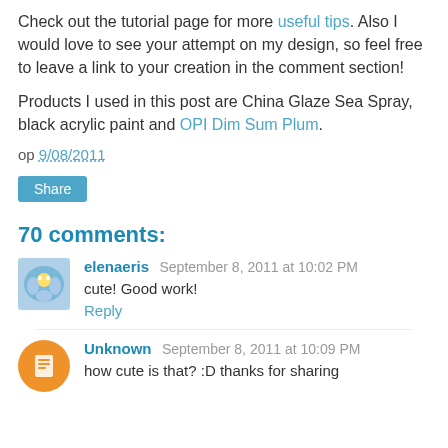Check out the tutorial page for more useful tips. Also I would love to see your attempt on my design, so feel free to leave a link to your creation in the comment section!
Products I used in this post are China Glaze Sea Spray, black acrylic paint and OPI Dim Sum Plum.
op 9/08/2011
Share
70 comments:
elenaeris September 8, 2011 at 10:02 PM
cute! Good work!
Reply
Unknown September 8, 2011 at 10:09 PM
how cute is that? :D thanks for sharing